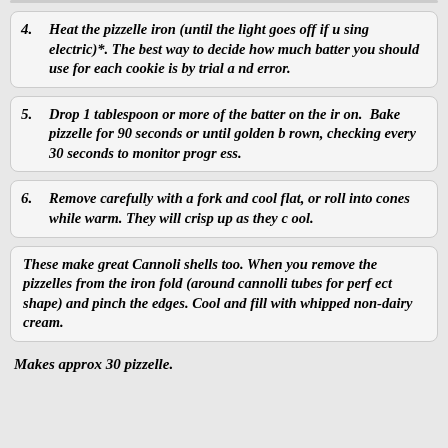4. Heat the pizzelle iron (until the light goes off if using electric)*. The best way to decide how much batter you should use for each cookie is by trial and error.
5. Drop 1 tablespoon or more of the batter on the iron. Bake pizzelle for 90 seconds or until golden brown, checking every 30 seconds to monitor progress.
6. Remove carefully with a fork and cool flat, or roll into cones while warm. They will crisp up as they cool.
These make great Cannoli shells too. When you remove the pizzelles from the iron fold (around cannolli tubes for perfect shape) and pinch the edges. Cool and fill with whipped non-dairy cream.
Makes approx 30 pizzelle.